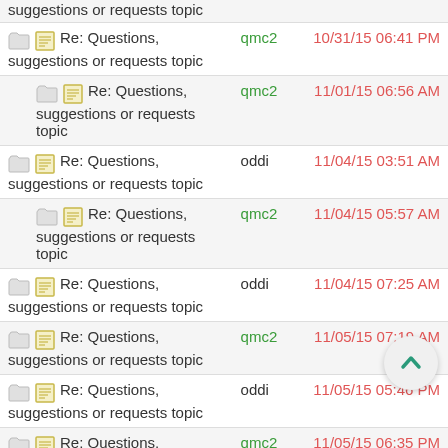| Topic | Author | Date |
| --- | --- | --- |
| (partial) suggestions or requests topic |  |  |
| Re: Questions, suggestions or requests topic | qmc2 | 10/31/15 06:41 PM |
| Re: Questions, suggestions or requests topic | qmc2 | 11/01/15 06:56 AM |
| Re: Questions, suggestions or requests topic | oddi | 11/04/15 03:51 AM |
| Re: Questions, suggestions or requests topic | qmc2 | 11/04/15 05:57 AM |
| Re: Questions, suggestions or requests topic | oddi | 11/04/15 07:25 AM |
| Re: Questions, suggestions or requests topic | qmc2 | 11/05/15 07:19 AM |
| Re: Questions, suggestions or requests topic | oddi | 11/05/15 05:46 PM |
| Re: Questions, suggestions or requests topic | qmc2 | 11/05/15 06:35 PM |
| Re: Questions, suggestions or requests topic | oddi | 11/05/15 06:42 PM |
| (partial bottom row) |  |  |